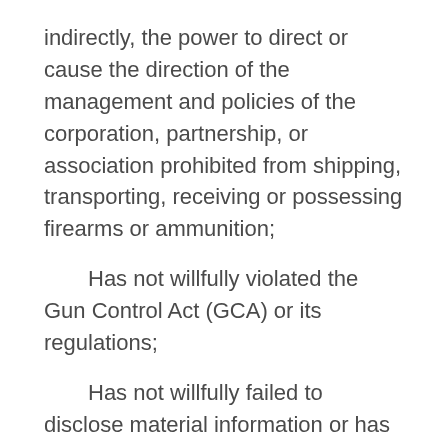indirectly, the power to direct or cause the direction of the management and policies of the corporation, partnership, or association prohibited from shipping, transporting, receiving or possessing firearms or ammunition;
Has not willfully violated the Gun Control Act (GCA) or its regulations;
Has not willfully failed to disclose material information or has not made false statements concerning material facts in connection with their application;